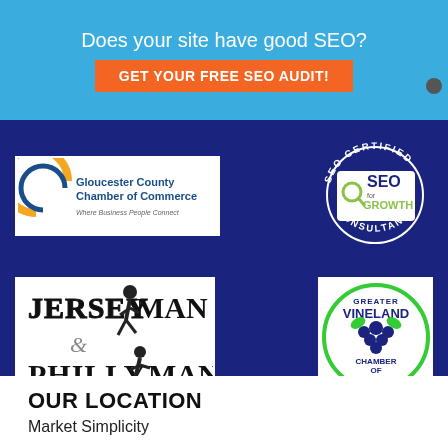Does your site have good SEO?
GET YOUR FREE SEO AUDIT!
[Figure (logo): Gloucester County Chamber of Commerce - Where Business People Connect logo]
[Figure (logo): SEO Certified - SEO for Growth Consultant badge]
[Figure (logo): Jersey Man & Philly Man logo]
[Figure (logo): Greater Vineland Chamber of Commerce Founded 1919 logo]
OUR LOCATION
Market Simplicity